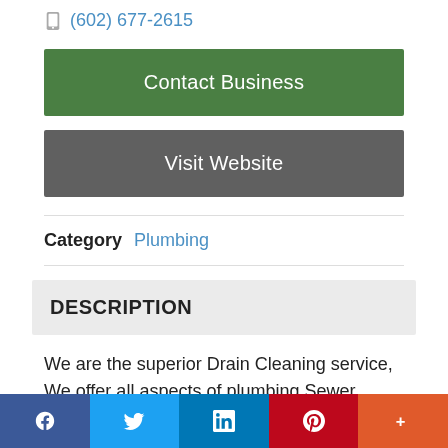(602) 677-2615
Contact Business
Visit Website
Category   Plumbing
DESCRIPTION
We are the superior Drain Cleaning service, We offer all aspects of plumbing Sewer repair and
f  Twitter  in  Pinterest  More